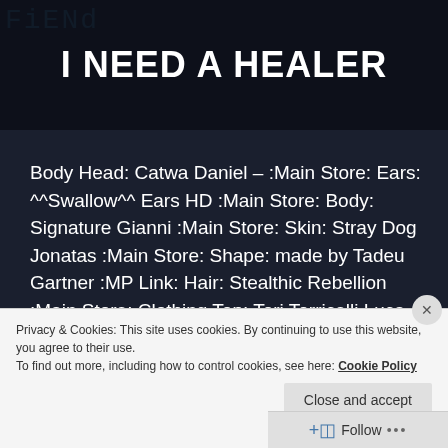I NEED A HEALER
Body Head: Catwa Daniel – :Main Store: Ears: ^^Swallow^^ Ears HD :Main Store: Body: Signature Gianni :Main Store: Skin: Stray Dog Jonatas :Main Store: Shape: made by Tadeu Gartner :MP Link: Hair: Stealthic Rebellion :Main Store: Clothing Top: Tori Torricelli Luca Double Tank :Main Store: :Main Cave Event: Pants: Tori Torricelli Luca Casual Ridged Pants [...]
Privacy & Cookies: This site uses cookies. By continuing to use this website, you agree to their use.
To find out more, including how to control cookies, see here: Cookie Policy
Close and accept
Follow